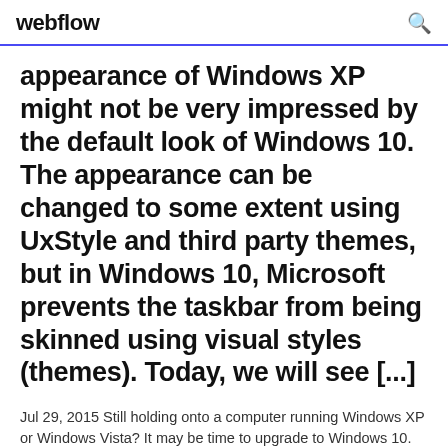webflow
appearance of Windows XP might not be very impressed by the default look of Windows 10. The appearance can be changed to some extent using UxStyle and third party themes, but in Windows 10, Microsoft prevents the taskbar from being skinned using visual styles (themes). Today, we will see [...]
Jul 29, 2015 Still holding onto a computer running Windows XP or Windows Vista? It may be time to upgrade to Windows 10. 31/07/2016 ·